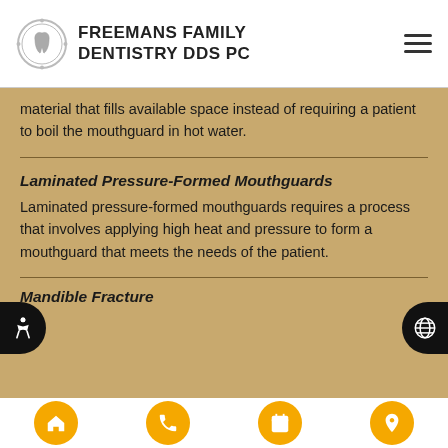Freemans Family Dentistry DDS PC
material that fills available space instead of requiring a patient to boil the mouthguard in hot water.
Laminated Pressure-Formed Mouthguards
Laminated pressure-formed mouthguards requires a process that involves applying high heat and pressure to form a mouthguard that meets the needs of the patient.
Mandible Fracture